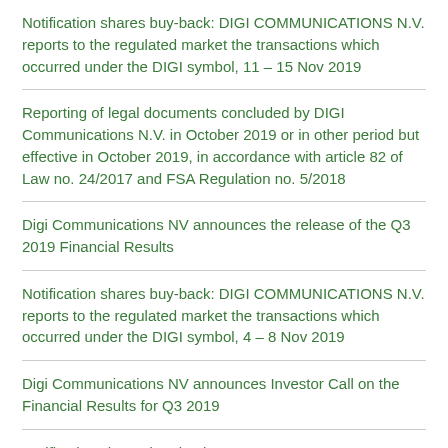Notification shares buy-back: DIGI COMMUNICATIONS N.V. reports to the regulated market the transactions which occurred under the DIGI symbol, 11 – 15 Nov 2019
Reporting of legal documents concluded by DIGI Communications N.V. in October 2019 or in other period but effective in October 2019, in accordance with article 82 of Law no. 24/2017 and FSA Regulation no. 5/2018
Digi Communications NV announces the release of the Q3 2019 Financial Results
Notification shares buy-back: DIGI COMMUNICATIONS N.V. reports to the regulated market the transactions which occurred under the DIGI symbol, 4 – 8 Nov 2019
Digi Communications NV announces Investor Call on the Financial Results for Q3 2019
Notification shares buy-back: DIGI COMMUNICATIONS N.V. reports to the regulated market the transactions which occurred under the DIGI symbol, 28 Oct – 1 Nov 2019